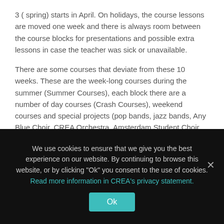3 ( spring) starts in April. On holidays, the course lessons are moved one week and there is always room between the course blocks for presentations and possible extra lessons in case the teacher was sick or unavailable.
There are some courses that deviate from these 10 weeks. These are the week-long courses during the summer (Summer Courses), each block there are a number of day courses (Crash Courses), weekend courses and special projects (pop bands, jazz bands, Any Blue Choir, CREA Orchestra, Amsterdam Student Choir, Choreography Project), which last more than 10 weeks.
Each course states the starting date, the length of the course and in which block the course falls.
We use cookies to ensure that we give you the best experience on our website. By continuing to browse this website, or by clicking "Ok" you consent to the use of cookies. Read more information in CREA's privacy statement.